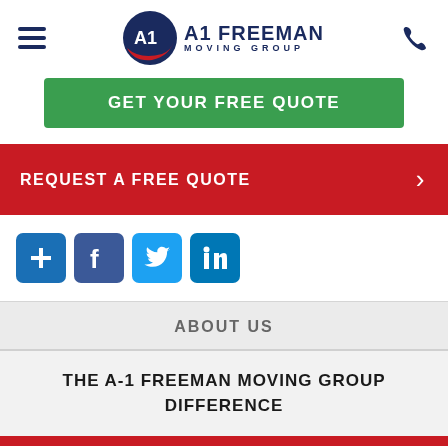[Figure (logo): A-1 Freeman Moving Group logo with hamburger menu and phone icon in header navigation bar]
GET YOUR FREE QUOTE
REQUEST A FREE QUOTE
[Figure (infographic): Four social media icon buttons: plus/add, Facebook, Twitter, LinkedIn]
ABOUT US
THE A-1 FREEMAN MOVING GROUP DIFFERENCE